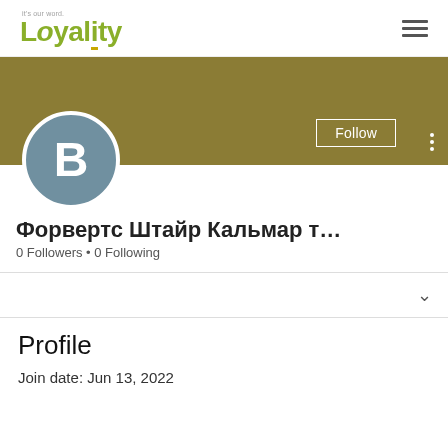Loyality it's our word.
[Figure (screenshot): Gold/olive cover banner background with Follow button and three-dot menu, and a gray circular avatar with letter B]
Форвертс Штайр Кальмар т…
0 Followers • 0 Following
Profile
Join date: Jun 13, 2022